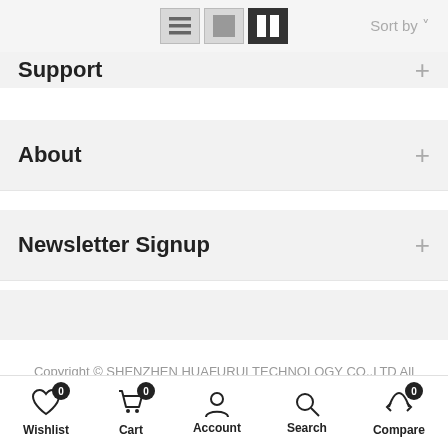[Figure (screenshot): Toolbar with list/grid view icons and Sort by dropdown]
Support +
About +
Newsletter Signup +
Copyright © SHENZHEN HUAFURUI TECHNOLOGY CO.,LTD All rights reserved.
Terms of service   Refund policy
[Figure (screenshot): Bottom navigation bar with Wishlist (0), Cart (0), Account, Search, Compare (0) icons]